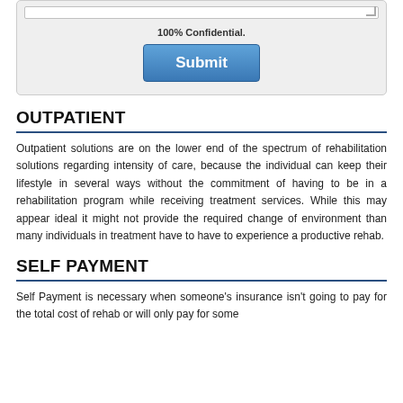[Figure (screenshot): Form box with textarea stub, '100% Confidential.' text, and a blue Submit button]
OUTPATIENT
Outpatient solutions are on the lower end of the spectrum of rehabilitation solutions regarding intensity of care, because the individual can keep their lifestyle in several ways without the commitment of having to be in a rehabilitation program while receiving treatment services. While this may appear ideal it might not provide the required change of environment than many individuals in treatment have to have to experience a productive rehab.
SELF PAYMENT
Self Payment is necessary when someone's insurance isn't going to pay for the total cost of rehab or will only pay for some